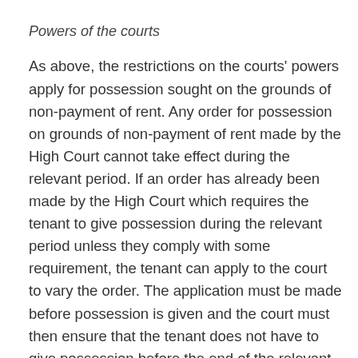Powers of the courts
As above, the restrictions on the courts' powers apply for possession sought on the grounds of non-payment of rent. Any order for possession on grounds of non-payment of rent made by the High Court cannot take effect during the relevant period. If an order has already been made by the High Court which requires the tenant to give possession during the relevant period unless they comply with some requirement, the tenant can apply to the court to vary the order. The application must be made before possession is given and the court must then ensure that the tenant does not have to give possession before the end of the relevant period.